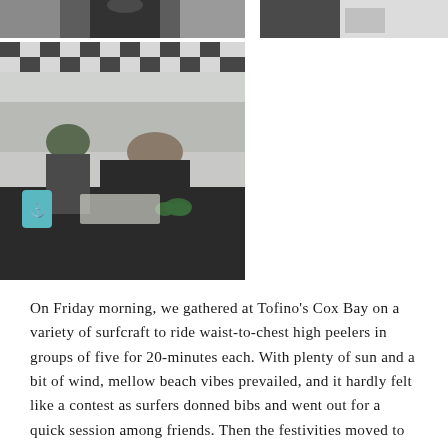[Figure (photo): Top-left photo: partial view of a person in dark clothing, cropped at top of page]
[Figure (photo): Top-right photo: partial view of a person, cropped at top of page, light background]
[Figure (photo): Main left photo: outdoor scene with checkered flag/umbrella visible at top, two people leaning over a table covered with dark cloth, a teal cup and binoculars on the table, overcast sky background]
On Friday morning, we gathered at Tofino's Cox Bay on a variety of surfcraft to ride waist-to-chest high peelers in groups of five for 20-minutes each. With plenty of sun and a bit of wind, mellow beach vibes prevailed, and it hardly felt like a contest as surfers donned bibs and went out for a quick session among friends. Then the festivities moved to the Tofino skate park. Picture 100 skateboarders jamming high speed lines in the deep end of the bowl and sessioning a